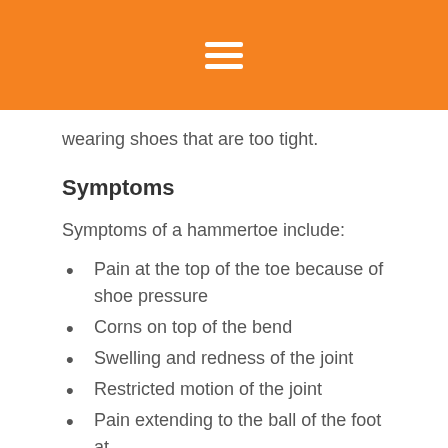☰
wearing shoes that are too tight.
Symptoms
Symptoms of a hammertoe include:
Pain at the top of the toe because of shoe pressure
Corns on top of the bend
Swelling and redness of the joint
Restricted motion of the joint
Pain extending to the ball of the foot at